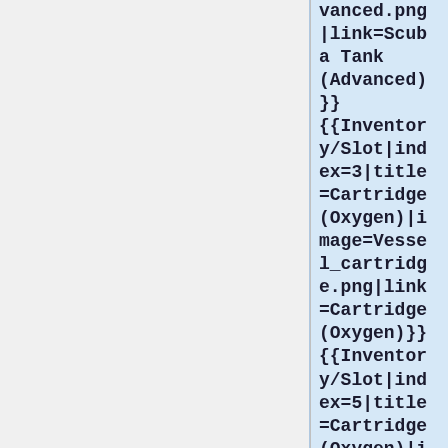vanced.png|link=Scuba Tank (Advanced)}}{{Inventory/Slot|index=3|title=Cartridge (Oxygen)|image=Vessel_cartridge.png|link=Cartridge (Oxygen)}}{{Inventory/Slot|index=5|title=Cartridge (Oxygen)|image=Vesse